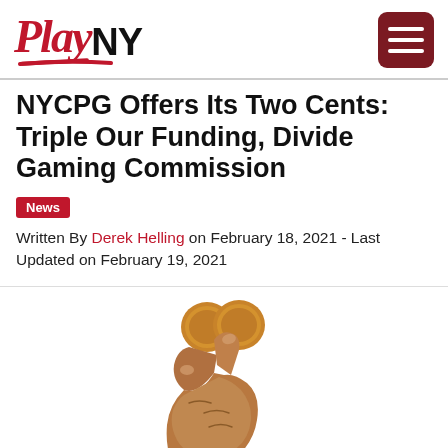PlayNY
NYCPG Offers Its Two Cents: Triple Our Funding, Divide Gaming Commission
News
Written By Derek Helling on February 18, 2021 - Last Updated on February 19, 2021
[Figure (photo): A hand holding two pennies (two cents) against a white background]